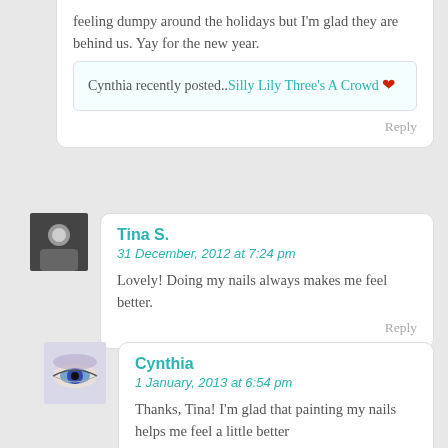feeling dumpy around the holidays but I'm glad they are behind us. Yay for the new year.
Cynthia recently posted..Silly Lily Three's A Crowd
Reply
Tina S.
31 December, 2012 at 7:24 pm
Lovely! Doing my nails always makes me feel better.
Reply
[Figure (photo): Avatar photo of Tina S. - black and white image]
Cynthia
1 January, 2013 at 6:54 pm
Thanks, Tina! I'm glad that painting my nails helps me feel a little better
[Figure (photo): Avatar photo of Cynthia - eye with blue eyeshadow]